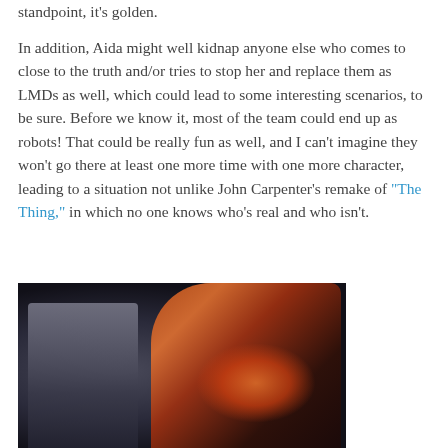standpoint, it's golden.

In addition, Aida might well kidnap anyone else who comes to close to the truth and/or tries to stop her and replace them as LMDs as well, which could lead to some interesting scenarios, to be sure. Before we know it, most of the team could end up as robots! That could be really fun as well, and I can't imagine they won't go there at least one more time with one more character, leading to a situation not unlike John Carpenter's remake of "The Thing," in which no one knows who's real and who isn't.
[Figure (photo): Composite image showing a man in a dark suit on the left and a metallic-armored superhero/robot figure with glowing orange energy on the right, set against a dark rocky background.]
Another tantalizing potential storyline involves